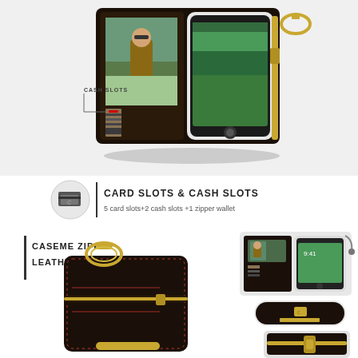[Figure (photo): Product photo showing a wallet phone case open, displaying a child photo in a transparent slot, card slots with cards, and an iPhone 7 alongside a zipper wallet compartment. Label 'CASH SLOTS' with an arrow pointing to the cash slot area.]
[Figure (infographic): Icon of credit cards with a vertical bar separator, bold text 'CARD SLOTS & CASH SLOTS', and subtext '5 card slots+2 cash slots +1 zipper wallet']
[Figure (photo): Text label 'CASEME ZIPPER LEATHER WALLET' with a vertical bar on the left, and product photos: large image of the black leather zipper wallet case with gold carabiner hook, plus smaller images on the right showing the wallet opened with cards and iPhone, a plain black phone case back, and a zipper compartment detail.]